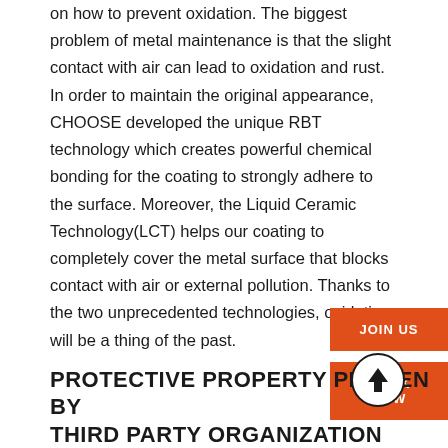on how to prevent oxidation. The biggest problem of metal maintenance is that the slight contact with air can lead to oxidation and rust. In order to maintain the original appearance, CHOOSE developed the unique RBT technology which creates powerful chemical bonding for the coating to strongly adhere to the surface. Moreover, the Liquid Ceramic Technology(LCT) helps our coating to completely cover the metal surface that blocks contact with air or external pollution. Thanks to the two unprecedented technologies, oxidation will be a thing of the past.
PROTECTIVE PROPERTY PROVEN BY THIRD PARTY ORGANIZATION